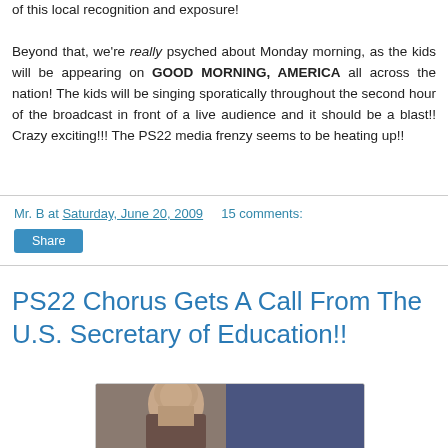of this local recognition and exposure! Beyond that, we're really psyched about Monday morning, as the kids will be appearing on GOOD MORNING, AMERICA all across the nation! The kids will be singing sporatically throughout the second hour of the broadcast in front of a live audience and it should be a blast!! Crazy exciting!!! The PS22 media frenzy seems to be heating up!!
Mr. B at Saturday, June 20, 2009   15 comments:
Share
PS22 Chorus Gets A Call From The U.S. Secretary of Education!!
[Figure (photo): Photo of a person, partially visible, with what appears to be flags in the background]